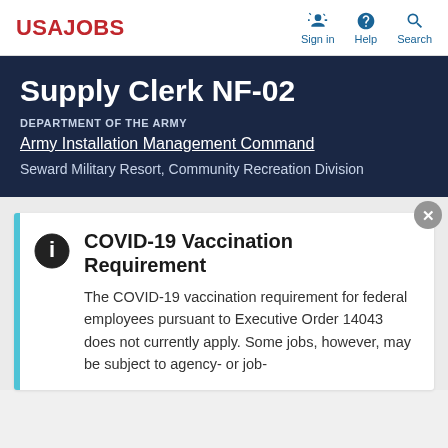USAJOBS | Sign in | Help | Search
Supply Clerk NF-02
DEPARTMENT OF THE ARMY
Army Installation Management Command
Seward Military Resort, Community Recreation Division
COVID-19 Vaccination Requirement
The COVID-19 vaccination requirement for federal employees pursuant to Executive Order 14043 does not currently apply. Some jobs, however, may be subject to agency- or job-